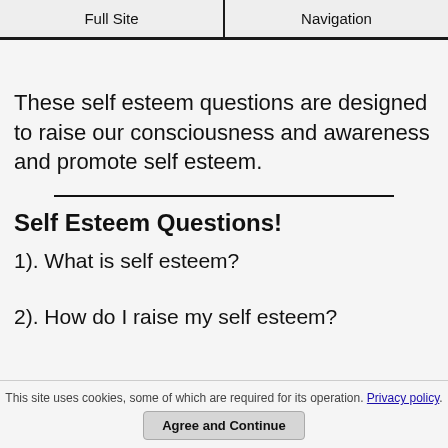Full Site | Navigation
These self esteem questions are designed to raise our consciousness and awareness and promote self esteem.
Self Esteem Questions!
1). What is self esteem?
2). How do I raise my self esteem?
This site uses cookies, some of which are required for its operation. Privacy policy. Agree and Continue